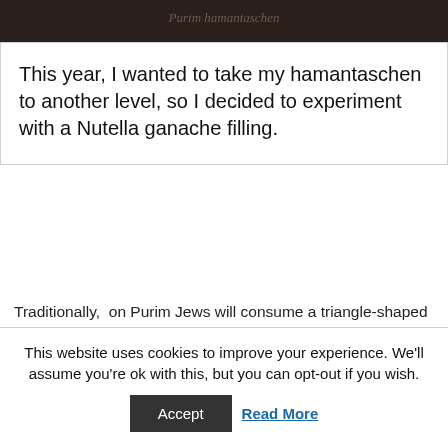[Figure (photo): Dark-toned food photo, partially visible at top of page]
This year, I wanted to take my hamantaschen to another level, so I decided to experiment with a Nutella ganache filling.
Traditionally, on Purim Jews will consume a triangle-shaped treat known as hamantaschen. These delicious cookies are commonly filled with apricot, strawberry or other fruit jams. However, if you are chocolate lover like me, ordinary jelly isn't...
This website uses cookies to improve your experience. We'll assume you're ok with this, but you can opt-out if you wish.